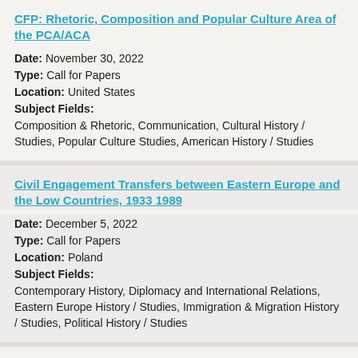CFP: Rhetoric, Composition and Popular Culture Area of the PCA/ACA
Date: November 30, 2022
Type: Call for Papers
Location: United States
Subject Fields:
Composition & Rhetoric, Communication, Cultural History / Studies, Popular Culture Studies, American History / Studies
Civil Engagement Transfers between Eastern Europe and the Low Countries, 1933 1989
Date: December 5, 2022
Type: Call for Papers
Location: Poland
Subject Fields:
Contemporary History, Diplomacy and International Relations, Eastern Europe History / Studies, Immigration & Migration History / Studies, Political History / Studies
CFP: Platform Intimacies (TOPIA Special Issue Section) ABSTRACT DEADLINE 15 Sept. 22